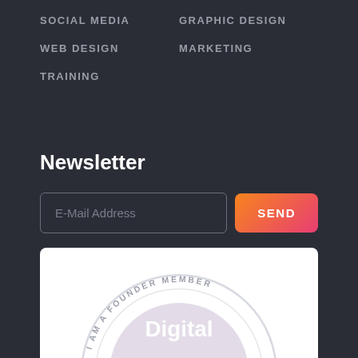SOCIAL MEDIA
GRAPHIC DESIGN
WEB DESIGN
MARKETING
TRAINING
Newsletter
E-Mail Address
SEND
[Figure (logo): Circular badge reading 'I AM A FOUNDER MEMBER' around the edge with 'Digital' text in the center on a light purple background]